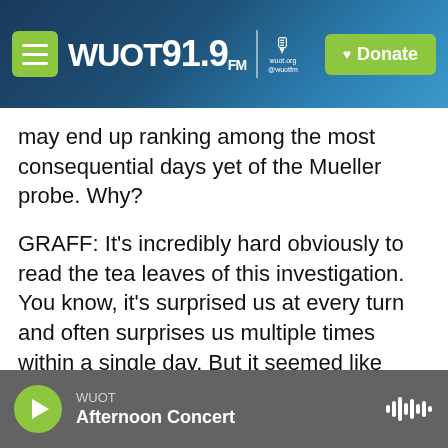WUOT 91.9 FM | wuot.org @wuotfm | Donate
may end up ranking among the most consequential days yet of the Mueller probe. Why?
GRAFF: It's incredibly hard obviously to read the tea leaves of this investigation. You know, it's surprised us at every turn and often surprises us multiple times within a single day. But it seemed like Monday was the beginning of the end - that the decision to declare Paul Manafort as noncooperative and move forward with his sentencing appears to be perhaps a way that Mueller is trying to move forward with publishing something that could look like the Mueller report -
WUOT
Afternoon Concert